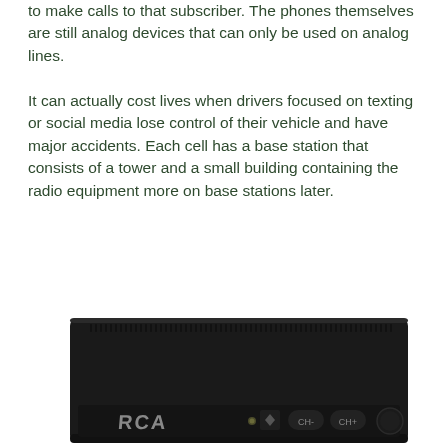to make calls to that subscriber. The phones themselves are still analog devices that can only be used on analog lines.
It can actually cost lives when drivers focused on texting or social media lose control of their vehicle and have major accidents. Each cell has a base station that consists of a tower and a small building containing the radio equipment more on base stations later.
[Figure (photo): Photo of a black RCA set-top box / converter device viewed from the front, showing the RCA logo on the left, indicator light, and channel up/down buttons on the front panel.]